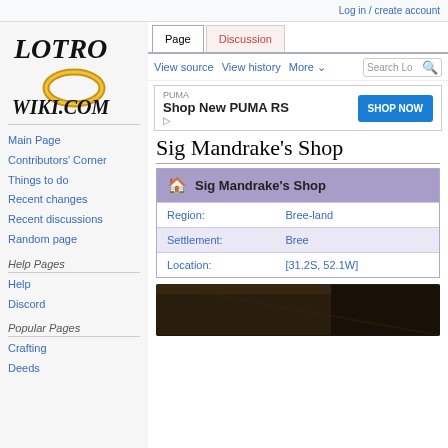Log in / create account
[Figure (logo): LOTRO Wiki.com logo with golden ring]
Main Page
Contributors' Corner
Things to do
Recent changes
Recent discussions
Random page
Help Pages
Help
Discord
Popular Pages
Crafting
Deeds
Sig Mandrake's Shop
|  | Sig Mandrake's Shop |
| --- | --- |
| Region: | Bree-land |
| Settlement: | Bree |
| Location: | [31.2S, 52.1W] |
[Figure (photo): Dark interior photograph of a shop]